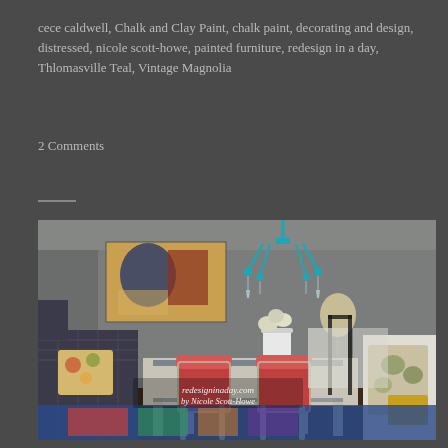cece caldwell, Chalk and Clay Paint, chalk paint, decorating and design, distressed, nicole scott-howe, painted furniture, redesign in a day, Thlomasville Teal, Vintage Magnolia
2 Comments
[Figure (photo): Interior dining room photo showing a teal chandelier, abstract wall art, a farmhouse-style table with red/coral French chairs painted light grey/white, a houndstooth wingback chair, white upholstered chair with floral pillow, white pitcher with white flowers, and a colorful rug. Watermark reads 'redesigninaday.com by Nicole Scott-Howe'.]